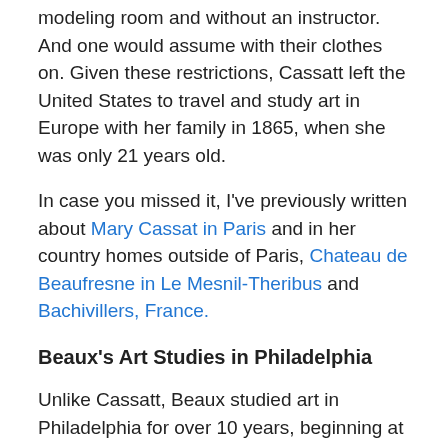modeling room and without an instructor. And one would assume with their clothes on. Given these restrictions, Cassatt left the United States to travel and study art in Europe with her family in 1865, when she was only 21 years old.
In case you missed it, I've previously written about Mary Cassat in Paris and in her country homes outside of Paris, Chateau de Beaufresne in Le Mesnil-Theribus and Bachivillers, France.
Beaux's Art Studies in Philadelphia
Unlike Cassatt, Beaux studied art in Philadelphia for over 10 years, beginning at age 16. Her studies would be very start-and-stop as she hopped from one teacher to another, and given the limitations of her early instruction, her talents would be slow to develop. Which just goes to show